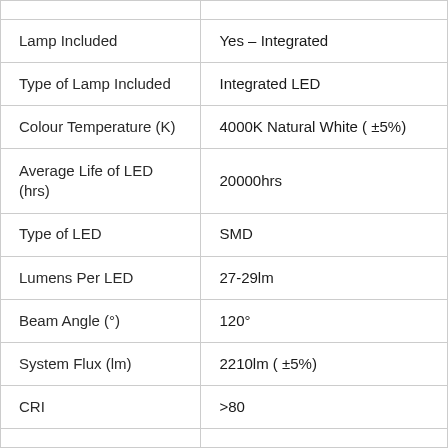| Property | Value |
| --- | --- |
| Lamp Included | Yes – Integrated |
| Type of Lamp Included | Integrated LED |
| Colour Temperature (K) | 4000K Natural White ( ±5%) |
| Average Life of LED (hrs) | 20000hrs |
| Type of LED | SMD |
| Lumens Per LED | 27-29lm |
| Beam Angle (°) | 120° |
| System Flux (lm) | 2210lm ( ±5%) |
| CRI | >80 |